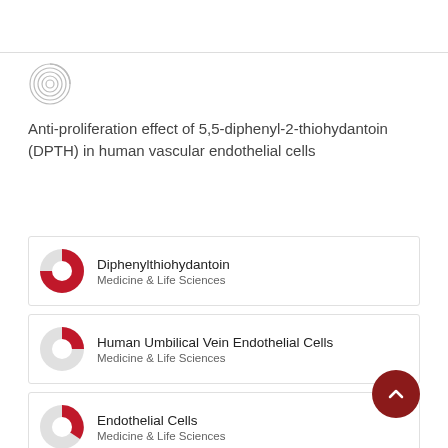[Figure (logo): Spiral/fingerprint style logo icon]
Anti-proliferation effect of 5,5-diphenyl-2-thiohydantoin (DPTH) in human vascular endothelial cells
Diphenylthiohydantoin — Medicine & Life Sciences
Human Umbilical Vein Endothelial Cells — Medicine & Life Sciences
Endothelial Cells — Medicine & Life Sciences
Thymidine — Chemical Compounds